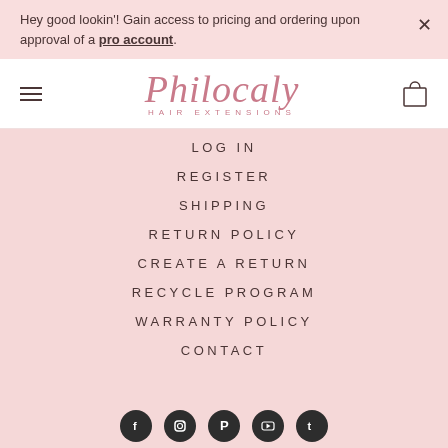Hey good lookin'! Gain access to pricing and ordering upon approval of a pro account.
[Figure (logo): Philocaly Hair Extensions script logo in pink/rose color]
LOG IN
REGISTER
SHIPPING
RETURN POLICY
CREATE A RETURN
RECYCLE PROGRAM
WARRANTY POLICY
CONTACT
[Figure (illustration): Social media icons row: Facebook, Instagram, Pinterest, YouTube, TikTok — dark circular icons]